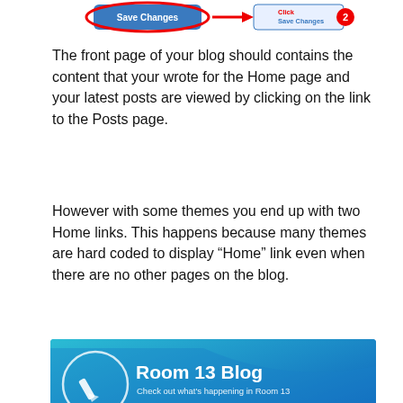[Figure (screenshot): Screenshot showing Save Changes button with red arrow annotation and click instruction]
The front page of your blog should contains the content that your wrote for the Home page and your latest posts are viewed by clicking on the link to the Posts page.
However with some themes you end up with two Home links. This happens because many themes are hard coded to display “Home” link even when there are no other pages on the blog.
[Figure (screenshot): Screenshot of Room 13 Blog website showing navigation bar with two circled Home links, About link, and Posts link]
To remove the second Home link you just edit the